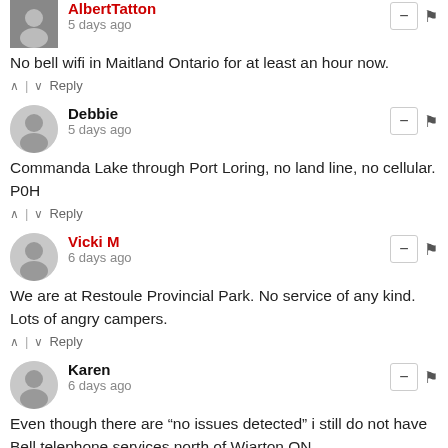AlbertTatton — 5 days ago
No bell wifi in Maitland Ontario for at least an hour now.
^ | v Reply
Debbie — 5 days ago
Commanda Lake through Port Loring, no land line, no cellular. P0H
^ | v Reply
Vicki M — 6 days ago
We are at Restoule Provincial Park. No service of any kind. Lots of angry campers.
^ | v Reply
Karen — 6 days ago
Even though there are "no issues detected" i still do not have Bell telephone services north of Wiarton ON
^ | v Reply